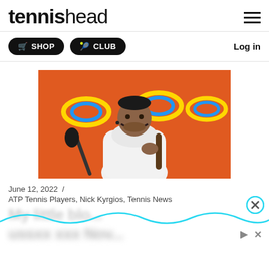tennishead
SHOP   CLUB   Log in
[Figure (photo): Nick Kyrgios seated at a press conference in front of an orange Miami Open branded backdrop, wearing a white hoodie, with a microphone in front of him.]
June 12, 2022  /
ATP Tennis Players, Nick Kyrgios, Tennis News
My little blo...